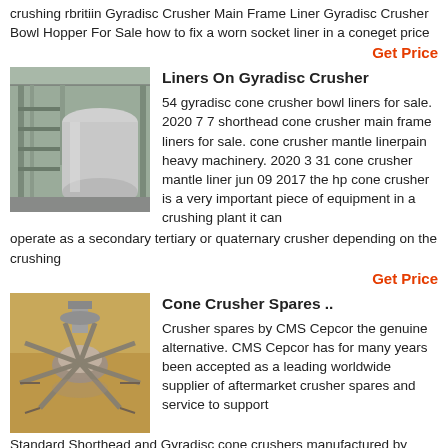crushing rbritiin Gyradisc Crusher Main Frame Liner Gyradisc Crusher Bowl Hopper For Sale how to fix a worn socket liner in a coneget price
Get Price
[Figure (photo): Industrial crusher machinery in a large warehouse/factory setting]
Liners On Gyradisc Crusher
54 gyradisc cone crusher bowl liners for sale. 2020 7 7 shorthead cone crusher main frame liners for sale. cone crusher mantle linerpain heavy machinery. 2020 3 31 cone crusher mantle liner jun 09 2017 the hp cone crusher is a very important piece of equipment in a crushing plant it can operate as a secondary tertiary or quaternary crusher depending on the crushing
Get Price
[Figure (photo): Cone crusher spares parts viewed from above showing radial arm assembly]
Cone Crusher Spares ..
Crusher spares by CMS Cepcor the genuine alternative. CMS Cepcor has for many years been accepted as a leading worldwide supplier of aftermarket crusher spares and service to support Standard Shorthead and Gyradisc cone crushers manufactured by Morgardshammar Bergeaud Krupp and Minerals.
Get Price